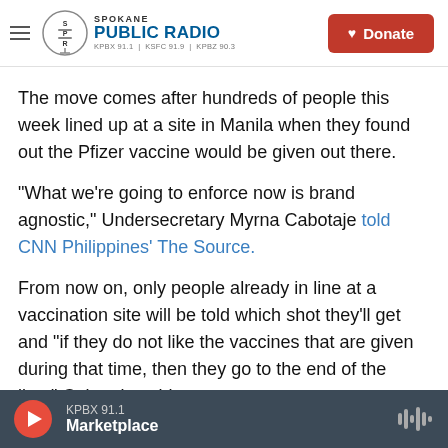Spokane Public Radio — KPBX 91.1 | KSFC 91.9 | KPBZ 90.3 | Donate
The move comes after hundreds of people this week lined up at a site in Manila when they found out the Pfizer vaccine would be given out there.
"What we're going to enforce now is brand agnostic," Undersecretary Myrna Cabotaje told CNN Philippines' The Source.
From now on, only people already in line at a vaccination site will be told which shot they'll get and "if they do not like the vaccines that are given during that time, then they go to the end of the line," Cabotaje said.
KPBX 91.1 — Marketplace